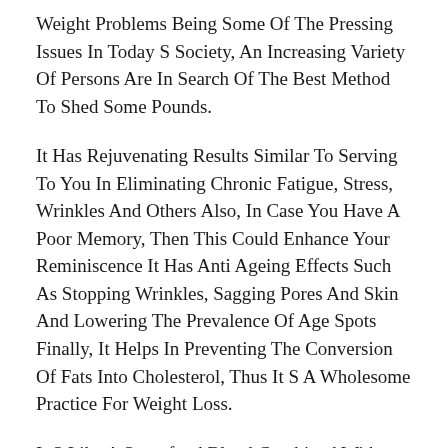Weight Problems Being Some Of The Pressing Issues In Today S Society, An Increasing Variety Of Persons Are In Search Of The Best Method To Shed Some Pounds.
It Has Rejuvenating Results Similar To Serving To You In Eliminating Chronic Fatigue, Stress, Wrinkles And Others Also, In Case You Have A Poor Memory, Then This Could Enhance Your Reminiscence It Has Anti Ageing Effects Such As Stopping Wrinkles, Sagging Pores And Skin And Lowering The Prevalence Of Age Spots Finally, It Helps In Preventing The Conversion Of Fats Into Cholesterol, Thus It S A Wholesome Practice For Weight Loss.
It S Like A Superfood Blend Combined With Weight Reduction Components .
Get Stocked Up On The